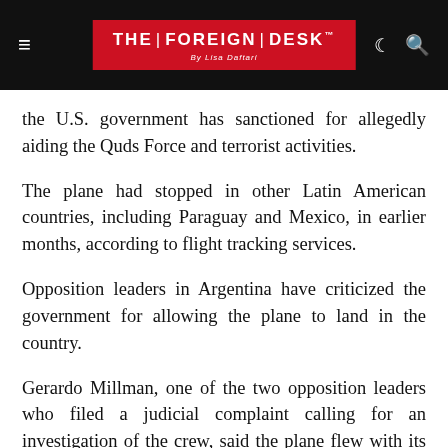THE FOREIGN DESK By Lisa Daftari
the U.S. government has sanctioned for allegedly aiding the Quds Force and terrorist activities.
The plane had stopped in other Latin American countries, including Paraguay and Mexico, in earlier months, according to flight tracking services.
Opposition leaders in Argentina have criticized the government for allowing the plane to land in the country.
Gerardo Millman, one of the two opposition leaders who filed a judicial complaint calling for an investigation of the crew, said the plane flew with its transponder turned off, which could have been used